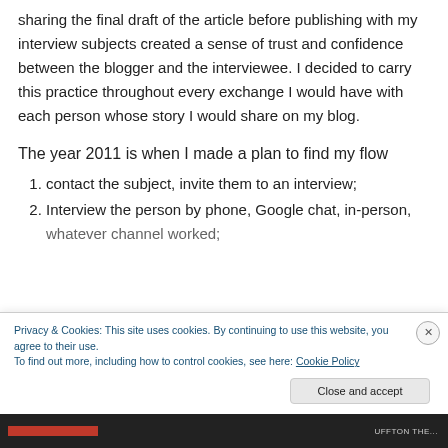sharing the final draft of the article before publishing with my interview subjects created a sense of trust and confidence between the blogger and the interviewee. I decided to carry this practice throughout every exchange I would have with each person whose story I would share on my blog.
The year 2011 is when I made a plan to find my flow
1. contact the subject, invite them to an interview;
2. Interview the person by phone, Google chat, in-person, whatever channel worked;
Privacy & Cookies: This site uses cookies. By continuing to use this website, you agree to their use. To find out more, including how to control cookies, see here: Cookie Policy